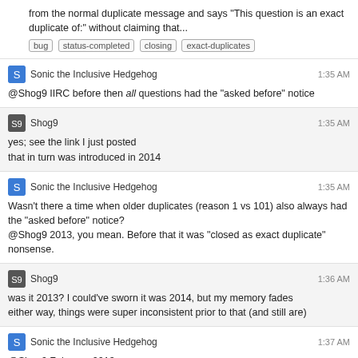from the normal duplicate message and says  This question is an exact duplicate of:  without claiming that...
bug | status-completed | closing | exact-duplicates
Sonic the Inclusive Hedgehog  1:35 AM  @Shog9 IIRC before then all questions had the "asked before" notice
Shog9  1:35 AM  yes; see the link I just posted  that in turn was introduced in 2014
Sonic the Inclusive Hedgehog  1:35 AM  Wasn't there a time when older duplicates (reason 1 vs 101) also always had the "asked before" notice?  @Shog9 2013, you mean. Before that it was "closed as exact duplicate" nonsense.
Shog9  1:36 AM  was it 2013? I could've sworn it was 2014, but my memory fades  either way, things were super inconsistent prior to that (and still are)
Sonic the Inclusive Hedgehog  1:37 AM  @Shog9 February 2013.
Shog9  1:37 AM  fair enough
Sonic the Inclusive Hedgehog  1:38 AM